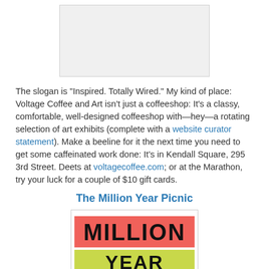[Figure (photo): Placeholder image at top of page, light gray rectangle]
The slogan is "Inspired. Totally Wired." My kind of place: Voltage Coffee and Art isn't just a coffeeshop: It's a classy, comfortable, well-designed coffeeshop with—hey—a rotating selection of art exhibits (complete with a website curator statement). Make a beeline for it the next time you need to get some caffeinated work done: It's in Kendall Square, 295 3rd Street. Deets at voltagecoffee.com; or at the Marathon, try your luck for a couple of $10 gift cards.
The Million Year Picnic
[Figure (photo): The Million Year Picnic store sign/logo with 'MILLION' in large black text on a salmon/pink background, and partial text below on a lime/yellow-green background]